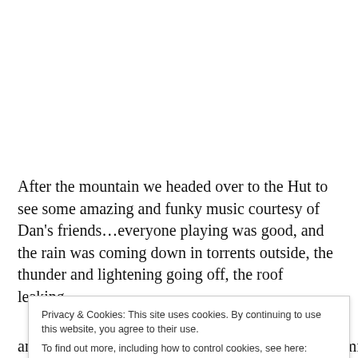After the mountain we headed over to the Hut to see some amazing and funky music courtesy of Dan's friends...everyone playing was good, and the rain was coming down in torrents outside, the thunder and lightening going off, the roof leaking...
Privacy & Cookies: This site uses cookies. By continuing to use this website, you agree to their use. To find out more, including how to control cookies, see here: Cookie Policy
Close and accept
anarchy is not chaos, it is the opposite of it. So I damned the